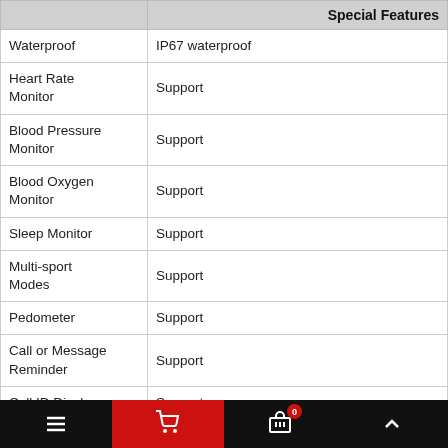|  | Special Features |
| --- | --- |
| Waterproof | IP67 waterproof |
| Heart Rate Monitor | Support |
| Blood Pressure Monitor | Support |
| Blood Oxygen Monitor | Support |
| Sleep Monitor | Support |
| Multi-sport Modes | Support |
| Pedometer | Support |
| Call or Message Reminder | Support |
| Call ID Display | Support |
| Notification | Support |
| Weather Push | Support |